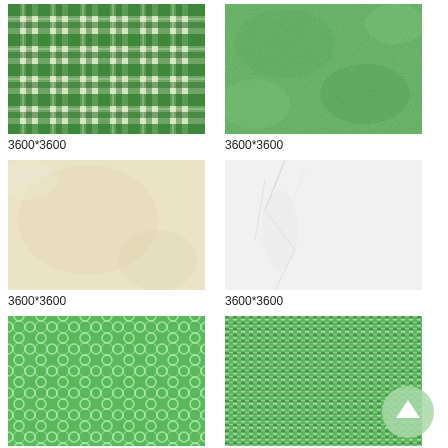[Figure (illustration): Green plaid/tartan pattern textile thumbnail]
3600*3600
[Figure (illustration): Green grunge textured background thumbnail]
3600*3600
[Figure (illustration): Cream/beige plain textured paper background thumbnail]
3600*3600
[Figure (illustration): White/light grey marble or crumpled paper texture thumbnail]
3600*3600
[Figure (illustration): Green quatrefoil/moroccan tile pattern thumbnail]
3600*3600
[Figure (illustration): Green and white small repeating diagonal pattern thumbnail]
3600*3600